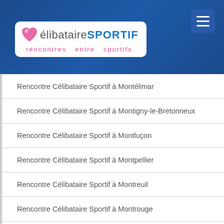[Figure (logo): CelibataireSportif logo with heart icon and tagline 'rencontres entre sportifs' on blue header background]
Rencontre Célibataire Sportif à Montélimar
Rencontre Célibataire Sportif à Montigny-le-Bretonneux
Rencontre Célibataire Sportif à Montluçon
Rencontre Célibataire Sportif à Montpellier
Rencontre Célibataire Sportif à Montreuil
Rencontre Célibataire Sportif à Montrouge
Rencontre Célibataire Sportif à Moulins
Rencontre Célibataire Sportif à Mulhouse
Rencontre Célibataire Sportif à Nancy